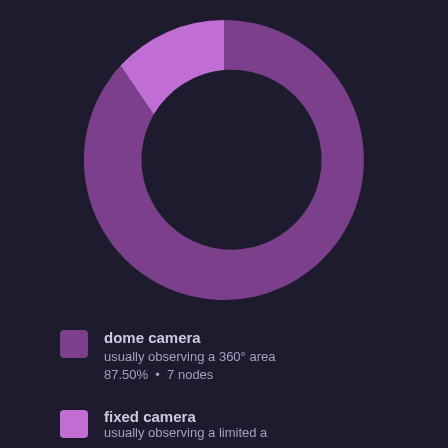[Figure (donut-chart): Camera types donut chart]
dome camera — usually observing a 360° area — 87.50% • 7 nodes
fixed camera — usually observing a limited area